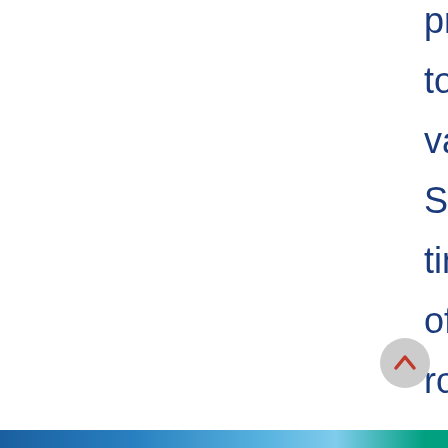provide all borrowers the opportunity to shop current rate offers through our vast network of lenders in RE... Start your input into any of our real-time pricing engines and take control of your new home loan now! ... routinely beat the competition with low rates and personalized se... Click here and see the confirmed reviews of our satisfied clients...